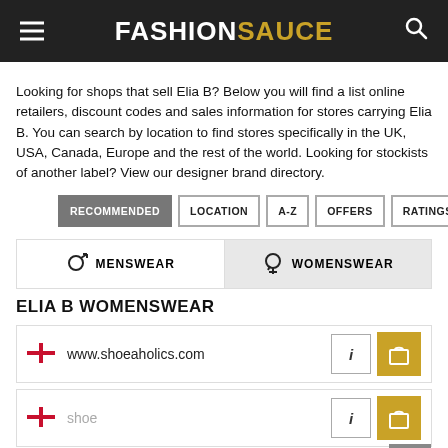FASHIONSAUCE
Looking for shops that sell Elia B? Below you will find a list online retailers, discount codes and sales information for stores carrying Elia B. You can search by location to find stores specifically in the UK, USA, Canada, Europe and the rest of the world. Looking for stockists of another label? View our designer brand directory.
RECOMMENDED
LOCATION
A-Z
OFFERS
RATINGS
MENSWEAR / WOMENSWEAR tabs
ELIA B WOMENSWEAR
www.shoeaholics.com